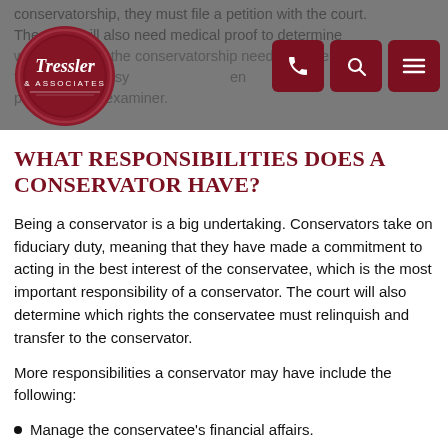conservatorship, they must file a petition with the court. The court will also need medical proof to determine whether or not the conservatorship needs to be established from a doctor, psychiatrist, or psychological examiner.
[Figure (logo): Tressler & Associates law firm logo — red wax seal with script lettering]
WHAT RESPONSIBILITIES DOES A CONSERVATOR HAVE?
Being a conservator is a big undertaking. Conservators take on fiduciary duty, meaning that they have made a commitment to acting in the best interest of the conservatee, which is the most important responsibility of a conservator. The court will also determine which rights the conservatee must relinquish and transfer to the conservator.
More responsibilities a conservator may have include the following:
Manage the conservatee's financial affairs.
Hiring caretakers for the conservatee.